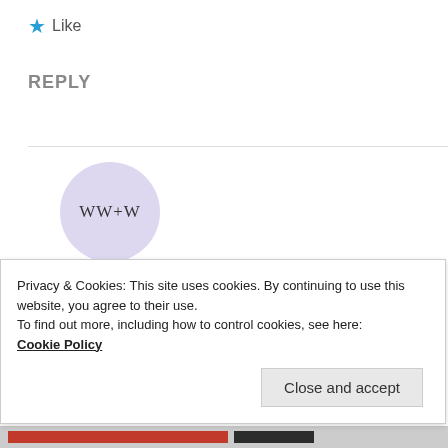★ Like
REPLY
[Figure (illustration): Circular avatar with lavender background showing initials WW+W]
WHITEWALLSANDWANDERLUST
January 2, 2016 at 11:13 AM
Privacy & Cookies: This site uses cookies. By continuing to use this website, you agree to their use.
To find out more, including how to control cookies, see here:
Cookie Policy
Close and accept